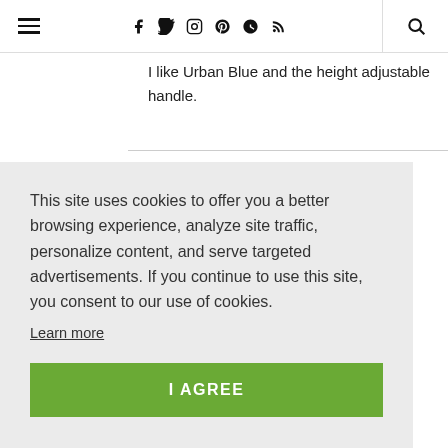≡ f 𝕏 Instagram Pinterest G+ RSS 🔍
I like Urban Blue and the height adjustable handle.
This site uses cookies to offer you a better browsing experience, analyze site traffic, personalize content, and serve targeted advertisements. If you continue to use this site, you consent to our use of cookies.
Learn more
I AGREE